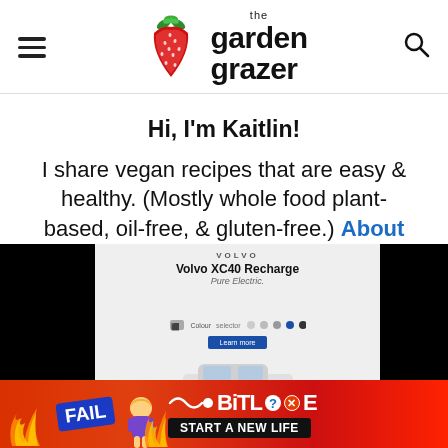the garden grazer
Hi, I'm Kaitlin!
I share vegan recipes that are easy & healthy. (Mostly whole food plant-based, oil-free, & gluten-free.) About
[Figure (screenshot): Volvo XC40 Recharge advertisement embedded within the page, flanked by black panels]
[Figure (screenshot): BitLife 'Start a New Life' advertisement banner at the bottom of the page]